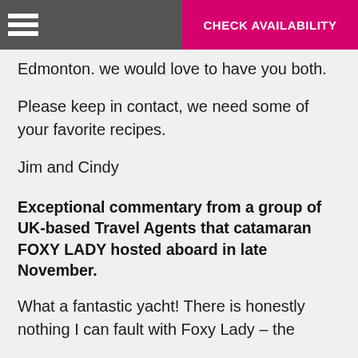CHECK AVAILABILITY
to us about the …d… are the best. Pleas… or… Edmonton. we would love to have you both.
Please keep in contact, we need some of your favorite recipes.
Jim and Cindy
Exceptional commentary from a group of UK-based Travel Agents that catamaran FOXY LADY hosted aboard in late November.
What a fantastic yacht! There is honestly nothing I can fault with Foxy Lady – the